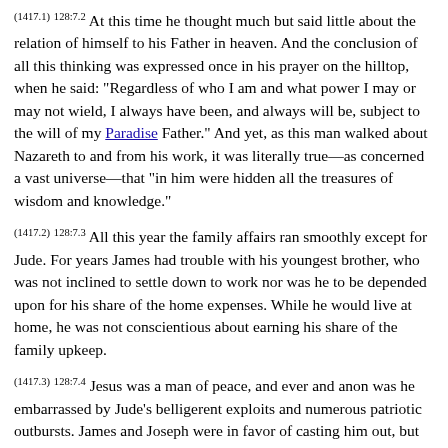(1417.1) 128:7.2 At this time he thought much but said little about the relation of himself to his Father in heaven. And the conclusion of all this thinking was expressed once in his prayer on the hilltop, when he said: "Regardless of who I am and what power I may or may not wield, I always have been, and always will be, subject to the will of my Paradise Father." And yet, as this man walked about Nazareth to and from his work, it was literally true—as concerned a vast universe—that "in him were hidden all the treasures of wisdom and knowledge."
(1417.2) 128:7.3 All this year the family affairs ran smoothly except for Jude. For years James had trouble with his youngest brother, who was not inclined to settle down to work nor was he to be depended upon for his share of the home expenses. While he would live at home, he was not conscientious about earning his share of the family upkeep.
(1417.3) 128:7.4 Jesus was a man of peace, and ever and anon was he embarrassed by Jude's belligerent exploits and numerous patriotic outbursts. James and Joseph were in favor of casting him out, but Jesus would not consent. When their patience would be severely tried, Jesus would only counsel: "Be patient. Be wise in your counsel and eloquent in your lives, that your young brother may first know the better way and then be constrained to follow you in it." The wise and loving counsel of Jesus prevented a break in the